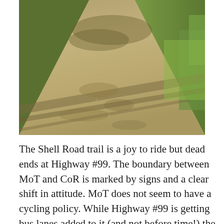[Figure (photo): A gravel/shell road trail with dappled tree shadows cast across it, green grass and vegetation along the right edge, path receding into the distance under tree cover.]
The Shell Road trail is a joy to ride but dead ends at Highway #99. The boundary between MoT and CoR is marked by signs and a clear shift in attitude. MoT does not seem to have a cycling policy. While Highway #99 is getting bus lanes added to it (and not before time!) the bridge over Shell Road is a work site. Underneath, in the